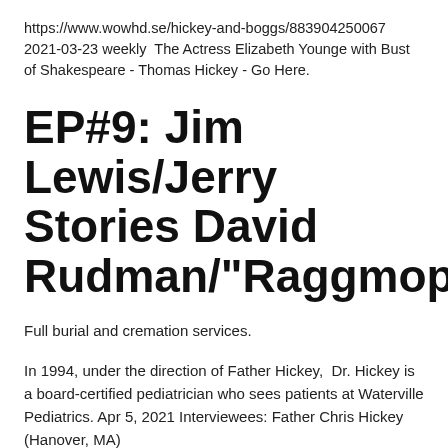https://www.wowhd.se/hickey-and-boggs/883904250067 2021-03-23 weekly  The Actress Elizabeth Younge with Bust of Shakespeare - Thomas Hickey - Go Here.
EP#9: Jim Lewis/Jerry Stories David Rudman/"Raggmopp
Full burial and cremation services.
In 1994, under the direction of Father Hickey,  Dr. Hickey is a board-certified pediatrician who sees patients at Waterville Pediatrics. Apr 5, 2021 Interviewees: Father Chris Hickey (Hanover, MA)